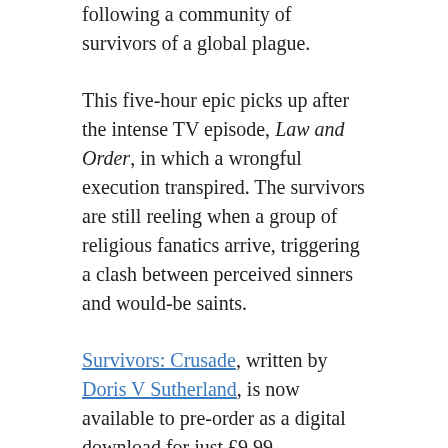following a community of survivors of a global plague.
This five-hour epic picks up after the intense TV episode, Law and Order, in which a wrongful execution transpired. The survivors are still reeling when a group of religious fanatics arrive, triggering a clash between perceived sinners and would-be saints.
Survivors: Crusade, written by Doris V Sutherland, is now available to pre-order as a digital download for just £9.99, exclusively here.
The survivors are usually prepared to welcome